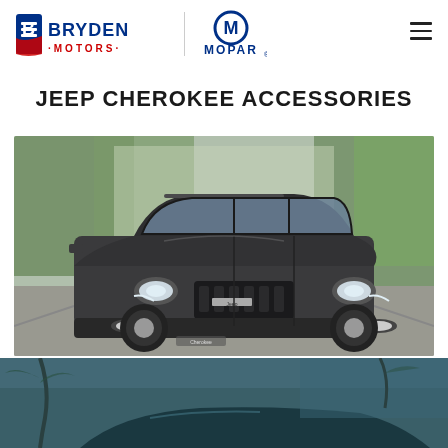Bryden Motors | Mopar
JEEP CHEROKEE ACCESSORIES
[Figure (photo): Dark grey Jeep Cherokee SUV driving on a road with blurred green trees in the background, featuring the Cherokee badge on the front bumper area]
[Figure (photo): Partial view of a dark teal/blue vehicle against a tropical background, cropped at bottom of page]